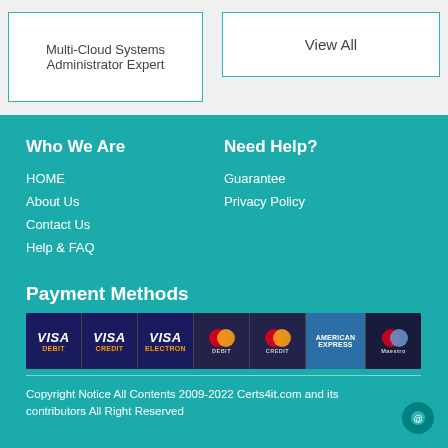Multi-Cloud Systems Administrator Expert
View All
Who We Are
HOME
About Us
Contact Us
Help & FAQ
Need Help?
Guarantee
Privacy Policy
Payment Methods
[Figure (illustration): Payment method logos strip showing VISA Debit, VISA Credit, VISA Electron, MasterCard Debit, MasterCard Credit, American Express, and Maestro card logos on a dark background]
Copyright Notice All Contents 2009-2022 Certs4it.com and its contributors All Right Reserved